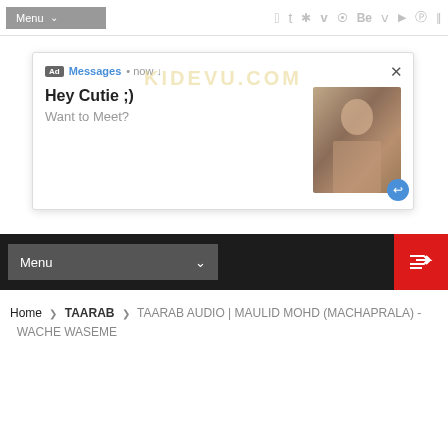Menu  f  t  ✦  v  )))  Be  V  yt  p  |||
[Figure (screenshot): Ad popup with 'Ad Messages • now' header, 'Hey Cutie ;)' and 'Want to Meet?' text, close button X, image of a person, and reply icon. Watermark KIDEVU.COM overlaid.]
Menu
Home > TAARAB > TAARAB AUDIO | MAULID MOHD (MACHAPRALA) - WACHE WASEME